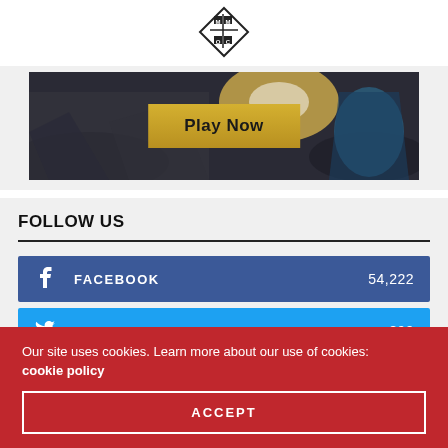[Figure (logo): MMOC diamond-shaped logo with letters M, M, O, C in a grid pattern inside a diamond]
[Figure (photo): Game banner image with dark fantasy/action scene and a gold 'Play Now' button in the center]
FOLLOW US
FACEBOOK 54,222
TWITTER 890
Our site uses cookies. Learn more about our use of cookies: cookie policy
ACCEPT